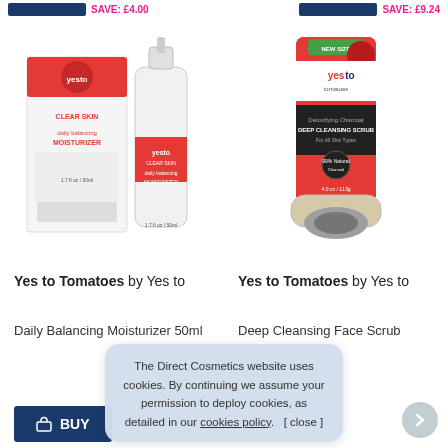SAVE: £4.00   SAVE: £9.24
[Figure (photo): Yes to Tomatoes Daily Balancing Moisturizer 50ml product box and bottle]
[Figure (photo): Yes to Tomatoes Deep Cleansing Face Scrub tube with applicator]
Yes to Tomatoes by Yes to
Yes to Tomatoes by Yes to
Daily Balancing Moisturizer 50ml
Deep Cleansing Face Scrub
BUY
The Direct Cosmetics website uses cookies. By continuing we assume your permission to deploy cookies, as detailed in our cookies policy.   [ close ]